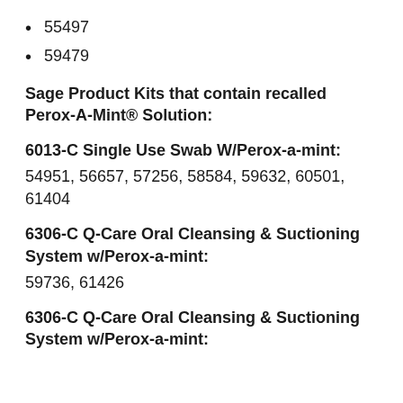55497
59479
Sage Product Kits that contain recalled Perox-A-Mint® Solution:
6013-C Single Use Swab W/Perox-a-mint:
54951, 56657, 57256, 58584, 59632, 60501, 61404
6306-C Q-Care Oral Cleansing & Suctioning System w/Perox-a-mint:
59736, 61426
6306-C Q-Care Oral Cleansing & Suctioning System w/Perox-a-mint: